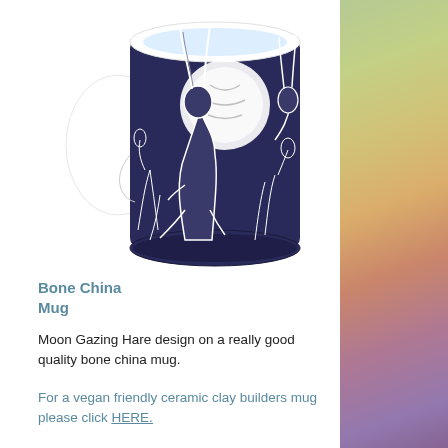[Figure (photo): A bone china mug with a dark navy blue background featuring a Moon Gazing Hare design in white — a hare sitting upright gazing at a large white moon, surrounded by flowers and foliage.]
Bone China Mug
Moon Gazing Hare design on a really good quality bone china mug.
For a vegan friendly ceramic clay builders mug please click HERE.